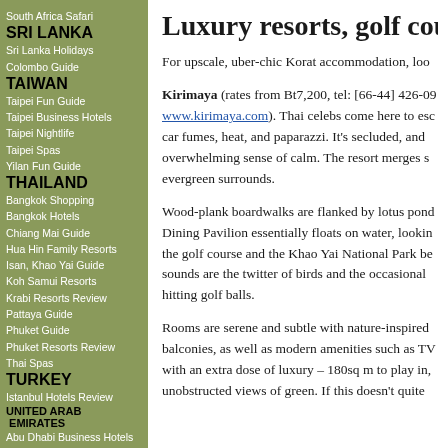South Africa Safari
SRI LANKA
Sri Lanka Holidays
Colombo Guide
TAIWAN
Taipei Fun Guide
Taipei Business Hotels
Taipei Nightlife
Taipei Spas
Yilan Fun Guide
THAILAND
Bangkok Shopping
Bangkok Hotels
Chiang Mai Guide
Hua Hin Family Resorts
Isan, Khao Yai Guide
Koh Samui Resorts
Krabi Resorts Review
Pattaya Guide
Phuket Guide
Phuket Resorts Review
Thai Spas
TURKEY
Istanbul Hotels Review
UNITED ARAB EMIRATES
Abu Dhabi Business Hotels
Dubai Guide
VIETNAM
Luxury resorts, golf course
For upscale, uber-chic Korat accommodation, loo...
Kirimaya (rates from Bt7,200, tel: [66-44] 426-09... www.kirimaya.com). Thai celebs come here to escape car fumes, heat, and paparazzi. It's secluded, and overwhelming sense of calm. The resort merges s... evergreen surrounds.
Wood-plank boardwalks are flanked by lotus ponds. Dining Pavilion essentially floats on water, looking the golf course and the Khao Yai National Park beyond. sounds are the twitter of birds and the occasional hitting golf balls.
Rooms are serene and subtle with nature-inspired balconies, as well as modern amenities such as TV with an extra dose of luxury – 180sq m to play in, unobstructed views of green. If this doesn't quite